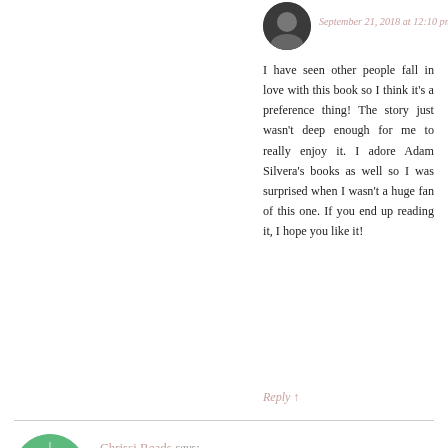September 21, 2018 at 12:10 pm
I have seen other people fall in love with this book so I think it's a preference thing! The story just wasn't deep enough for me to really enjoy it. I adore Adam Silvera's books as well so I was surprised when I wasn't a huge fan of this one. If you end up reading it, I hope you like it!
Reply ↑
Chrissi Reads says:
September 20, 2018 at 4:59 am
I'm intrigued by this book still! I'm glad that it was a decent read overall. :-)